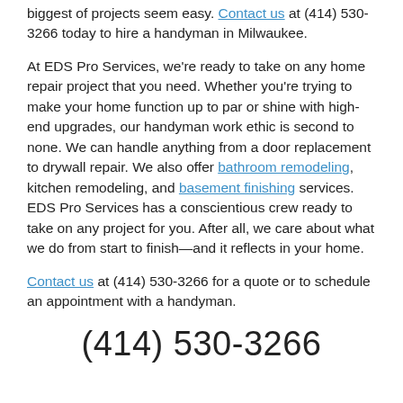biggest of projects seem easy. Contact us at (414) 530-3266 today to hire a handyman in Milwaukee.
At EDS Pro Services, we're ready to take on any home repair project that you need. Whether you're trying to make your home function up to par or shine with high-end upgrades, our handyman work ethic is second to none. We can handle anything from a door replacement to drywall repair. We also offer bathroom remodeling, kitchen remodeling, and basement finishing services. EDS Pro Services has a conscientious crew ready to take on any project for you. After all, we care about what we do from start to finish—and it reflects in your home.
Contact us at (414) 530-3266 for a quote or to schedule an appointment with a handyman.
(414) 530-3266